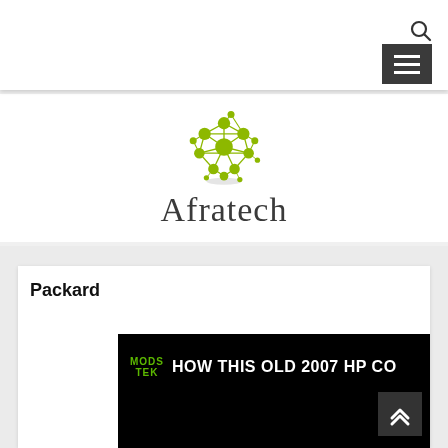[Figure (logo): Afratech logo: a green molecular/network sphere icon above the text 'Afratech' in dark gray serif font]
Packard
[Figure (screenshot): Video thumbnail showing 'MODS TEK' branding in green on black background with text 'HOW THIS OLD 2007 HP CO' in white, with a scroll-up arrow button overlay]